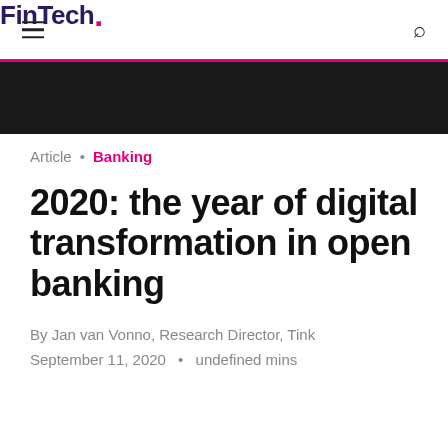FinTech.
Article • Banking
2020: the year of digital transformation in open banking
By Jan van Vonno, Research Director, Tink
September 11, 2020 • undefined mins